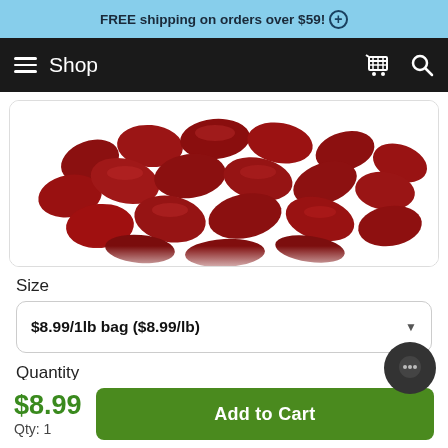FREE shipping on orders over $59! +
Shop
[Figure (photo): Pile of red/dark-red oval bean-shaped candies or seeds on a white background]
Size
$8.99/1lb bag ($8.99/lb)
Quantity
1
Show bulk discount
Prices
$8.99
Qty: 1
Add to Cart